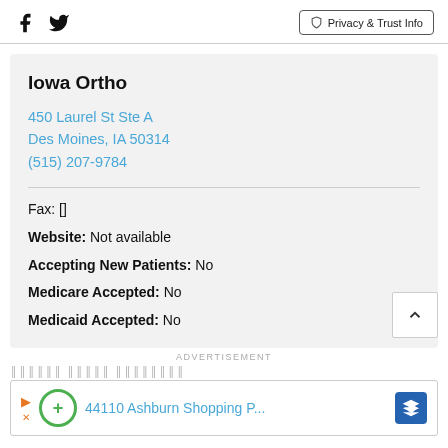Facebook Twitter | Privacy & Trust Info
Iowa Ortho
450 Laurel St Ste A
Des Moines, IA 50314
(515) 207-9784
Fax: []
Website: Not available
Accepting New Patients: No
Medicare Accepted: No
Medicaid Accepted: No
ADVERTISEMENT
44110 Ashburn Shopping P...